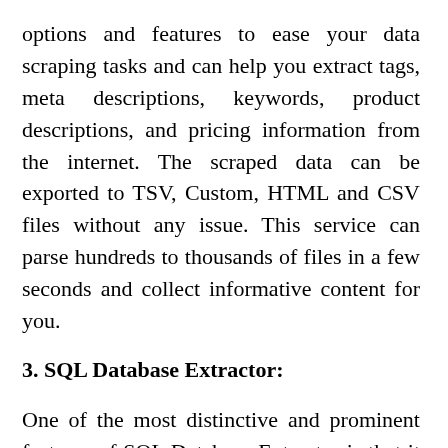options and features to ease your data scraping tasks and can help you extract tags, meta descriptions, keywords, product descriptions, and pricing information from the internet. The scraped data can be exported to TSV, Custom, HTML and CSV files without any issue. This service can parse hundreds to thousands of files in a few seconds and collect informative content for you.
3. SQL Database Extractor:
One of the most distinctive and prominent features of SQL Database Extractor is that it can scrape information from a large number of files and saves it in a pre-defined format. You can also target meta